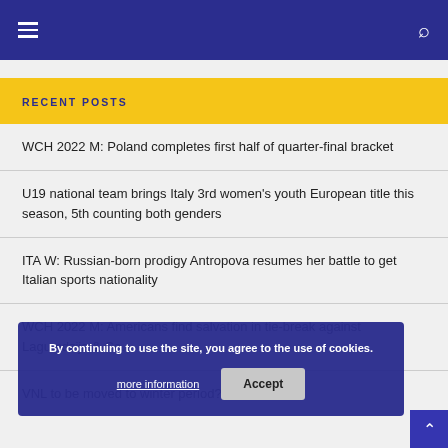Navigation header with hamburger menu and search icon
RECENT POSTS
WCH 2022 M: Poland completes first half of quarter-final bracket
U19 national team brings Italy 3rd women's youth European title this season, 5th counting both genders
ITA W: Russian-born prodigy Antropova resumes her battle to get Italian sports nationality
WCH 2022 M: Americans find salvation in tie-break against Lagumdzija & Co.
VNL to be moved to winter period?
By continuing to use the site, you agree to the use of cookies. more information Accept